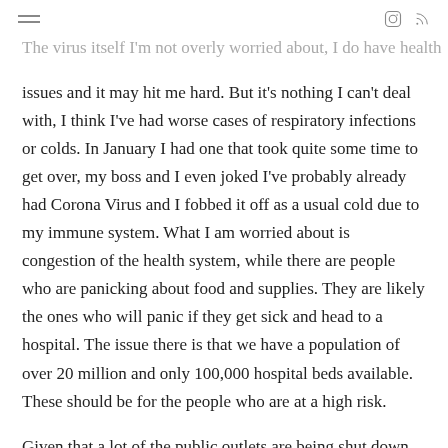≡  [instagram icon] [rss icon]
The virus itself I'm not overly worried about, I do have health issues and it may hit me hard. But it's nothing I can't deal with, I think I've had worse cases of respiratory infections or colds. In January I had one that took quite some time to get over, my boss and I even joked I've probably already had Corona Virus and I fobbed it off as a usual cold due to my immune system. What I am worried about is congestion of the health system, while there are people who are panicking about food and supplies. They are likely the ones who will panic if they get sick and head to a hospital. The issue there is that we have a population of over 20 million and only 100,000 hospital beds available. These should be for the people who are at a high risk.
Given that a lot of the public outlets are being shut down, pubs, restaurants, cafes etc and left with only essential items (typical Australia made sure Dan Murphys was kept open as "essential"). I'm trying to think of ways I can keep myself occupied, I think